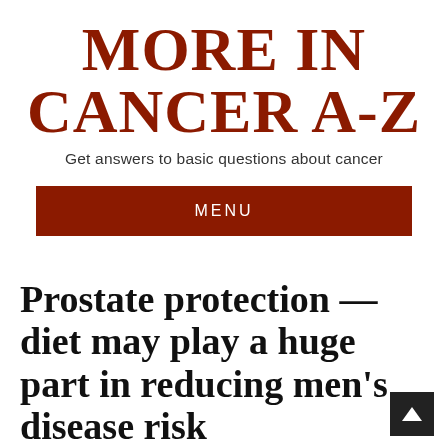MORE IN CANCER A-Z
Get answers to basic questions about cancer
MENU
Prostate protection — diet may play a huge part in reducing men's disease risk